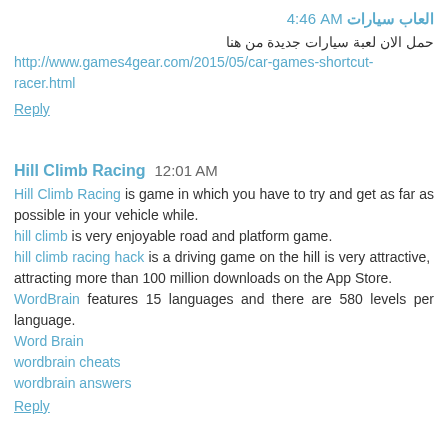العاب سيارات 4:46 AM
حمل الان لعبة سيارات جديدة من هنا http://www.games4gear.com/2015/05/car-games-shortcut-racer.html
Reply
Hill Climb Racing  12:01 AM
Hill Climb Racing is game in which you have to try and get as far as possible in your vehicle while. hill climb is very enjoyable road and platform game. hill climb racing hack is a driving game on the hill is very attractive, attracting more than 100 million downloads on the App Store. WordBrain features 15 languages and there are 580 levels per language. Word Brain wordbrain cheats wordbrain answers
Reply